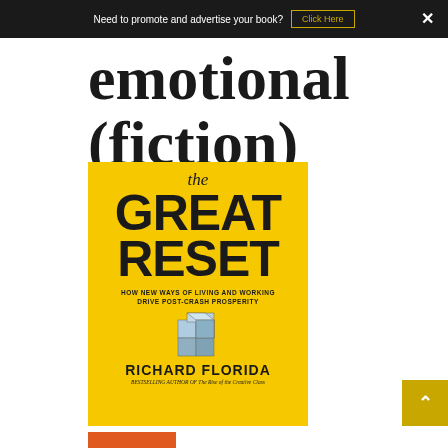Need to promote and advertise your book? Click Here ×
emotional (fiction)
[Figure (photo): Book cover of 'The Great Reset: How New Ways of Living and Working Drive Post-Crash Prosperity' by Richard Florida, bestselling author of The Rise of the Creative Class. Yellow background with large bold black text and a Rubik's cube graphic.]